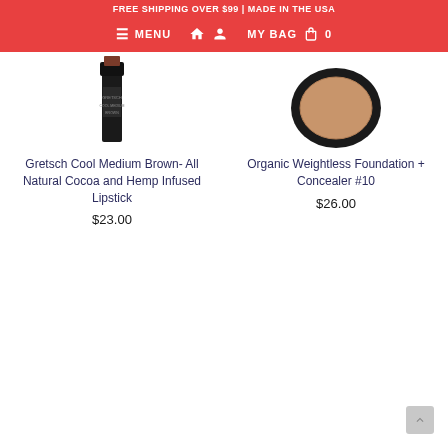FREE SHIPPING OVER $99 | MADE IN THE USA
≡ MENU  🏠  👤  MY BAG  🛍  0
[Figure (photo): Partial view of a black lipstick tube product photo, cropped at top]
[Figure (photo): Partial view of a round black compact foundation/concealer product photo, cropped at top]
Gretsch Cool Medium Brown- All Natural Cocoa and Hemp Infused Lipstick
$23.00
Organic Weightless Foundation + Concealer #10
$26.00